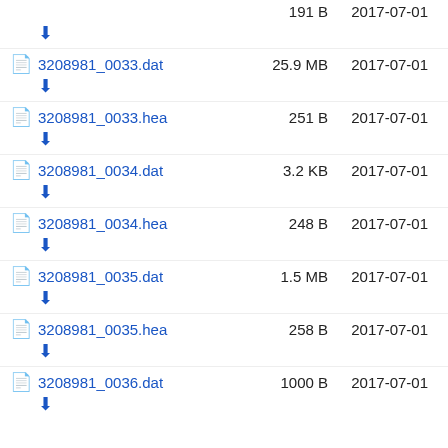191 B  2017-07-01  (partial top row with download icon)
3208981_0033.dat  25.9 MB  2017-07-01
3208981_0033.hea  251 B  2017-07-01
3208981_0034.dat  3.2 KB  2017-07-01
3208981_0034.hea  248 B  2017-07-01
3208981_0035.dat  1.5 MB  2017-07-01
3208981_0035.hea  258 B  2017-07-01
3208981_0036.dat  1000 B  2017-07-01